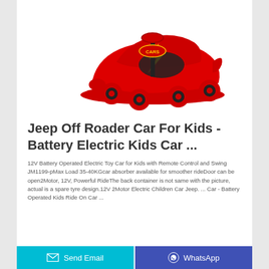[Figure (photo): Red Lightning McQueen themed ride-on toy car / plasma car with red wheels and yellow lightning bolt design, viewed from the side.]
Jeep Off Roader Car For Kids - Battery Electric Kids Car ...
12V Battery Operated Electric Toy Car for Kids with Remote Control and Swing JM1199-pMax Load 35-40KGcar absorber available for smoother rideDoor can be open2Motor, 12V, Powerful RideThe back container is not same with the picture, actual is a spare tyre design.12V 2Motor Electric Children Car Jeep. ... Car - Battery Operated Kids Ride On Car ...
Send Email | WhatsApp